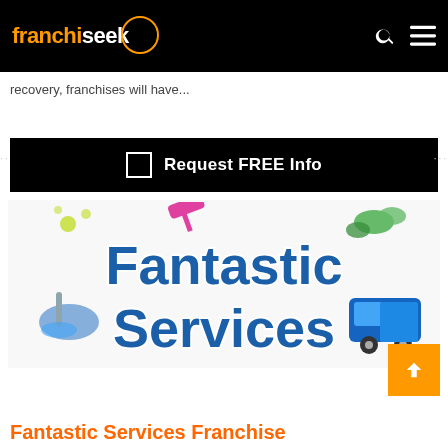franchiseek
recovery, franchises will have...
[Figure (other): Black button bar with checkbox icon and text 'Request FREE Info']
[Figure (logo): Fantastic Services colorful logo with cleaning-themed illustrations and stylized text]
Fantastic Services Franchise